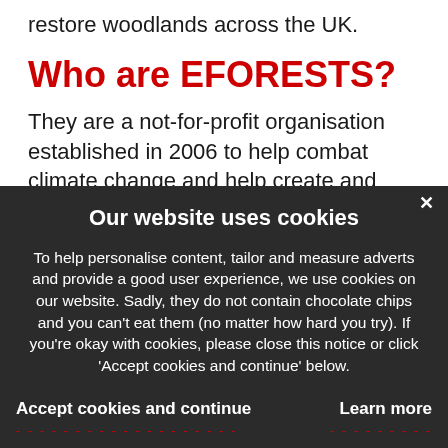restore woodlands across the UK.
Who are EFORESTS?
They are a not-for-profit organisation established in 2006 to help combat climate change and help create and restore woodlands
Our website uses cookies
To help personalise content, tailor and measure adverts and provide a good user experience, we use cookies on our website. Sadly, they do not contain chocolate chips and you can't eat them (no matter how hard you try). If you're okay with cookies, please close this notice or click 'Accept cookies and continue' below.
Accept cookies and continue
Learn more